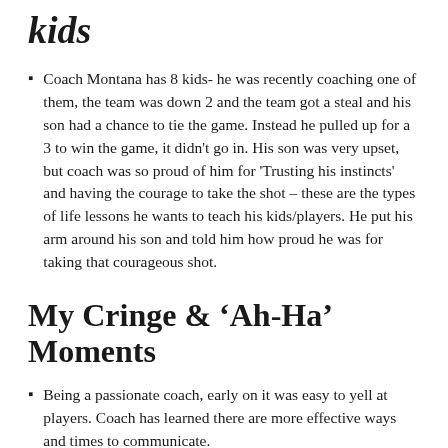kids
Coach Montana has 8 kids- he was recently coaching one of them, the team was down 2 and the team got a steal and his son had a chance to tie the game. Instead he pulled up for a 3 to win the game, it didn't go in. His son was very upset, but coach was so proud of him for 'Trusting his instincts' and having the courage to take the shot – these are the types of life lessons he wants to teach his kids/players. He put his arm around his son and told him how proud he was for taking that courageous shot.
My Cringe & ‘Ah-Ha’ Moments
Being a passionate coach, early on it was easy to yell at players. Coach has learned there are more effective ways and times to communicate.